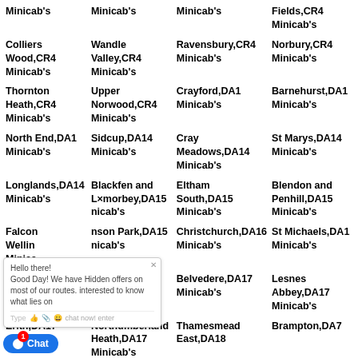Minicab's
Minicab's
Minicab's
Fields,CR4 Minicab's
Colliers Wood,CR4 Minicab's
Wandle Valley,CR4 Minicab's
Ravensbury,CR4 Minicab's
Norbury,CR4 Minicab's
Thornton Heath,CR4 Minicab's
Upper Norwood,CR4 Minicab's
Crayford,DA1 Minicab's
Barnehurst,DA1 Minicab's
North End,DA1 Minicab's
Sidcup,DA14 Minicab's
Cray Meadows,DA14 Minicab's
St Marys,DA14 Minicab's
Longlands,DA14 Minicab's
Blackfen and Lamorbey,DA15 Minicab's
Eltham South,DA15 Minicab's
Blendon and Penhill,DA15 Minicab's
Falcon Wood Wellin... Minicab's
...nson Park,DA15 Minicab's
Christchurch,DA16 Minicab's
St Michaels,DA1 Minicab's
East Wickh... Minicab's
Shooters Hill,DA16 Minicab's
Belvedere,DA17 Minicab's
Lesnes Abbey,DA17 Minicab's
Erith,DA17
Northumberland Heath,DA17 Minicab's
Thamesmead East,DA18
Brampton,DA7